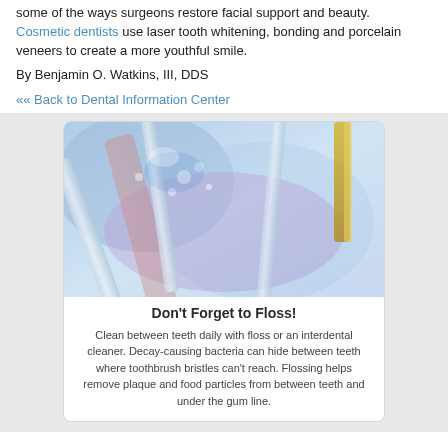some of the ways surgeons restore facial support and beauty. Cosmetic dentists use laser tooth whitening, bonding and porcelain veneers to create a more youthful smile.
By Benjamin O. Watkins, III, DDS
«« Back to Dental Information Center
[Figure (photo): Close-up macro photo of dental/lab tools with blue and purple lighting, colorful abstract background suggesting dental instruments]
Don't Forget to Floss!
Clean between teeth daily with floss or an interdental cleaner. Decay-causing bacteria can hide between teeth where toothbrush bristles can't reach. Flossing helps remove plaque and food particles from between teeth and under the gum line.